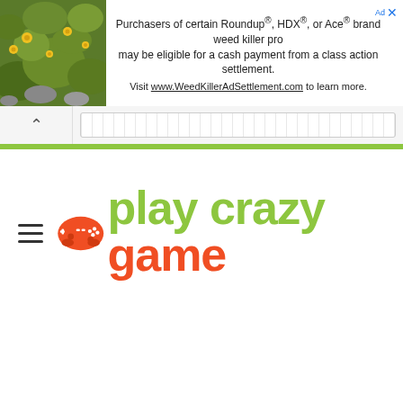[Figure (photo): Green foliage with yellow flowers background image in the advertisement banner]
Purchasers of certain Roundup®, HDX®, or Ace® brand weed killer products may be eligible for a cash payment from a class action settlement. Visit www.WeedKillerAdSettlement.com to learn more.
[Figure (logo): Play Crazy Game logo with orange game controller icon and green/orange stylized text reading 'play crazy game']